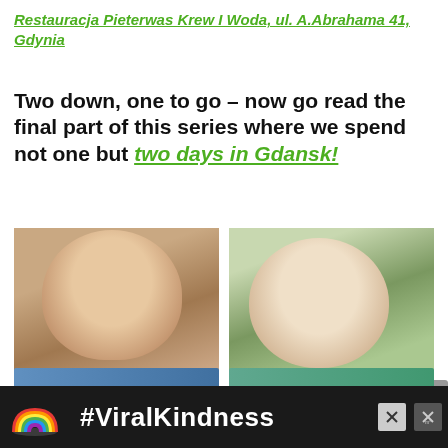Restauracja Pieterwas Krew I Woda, ul. A.Abrahama 41, Gdynia
Two down, one to go – now go read the final part of this series where we spend not one but two days in Gdansk!
[Figure (photo): Portrait photo of a woman with short blonde hair, dramatic makeup, and crystal earrings]
The Most Brutal Celeb Breakups Of 2022 So Far
[Figure (photo): Portrait photo of a young boy with brown hair and light eyes, wearing a suit]
The Truth About Donald Trump's Son Is Out Now & We're Surprised
[Figure (photo): Advertisement banner showing a rainbow illustration and #ViralKindness text]